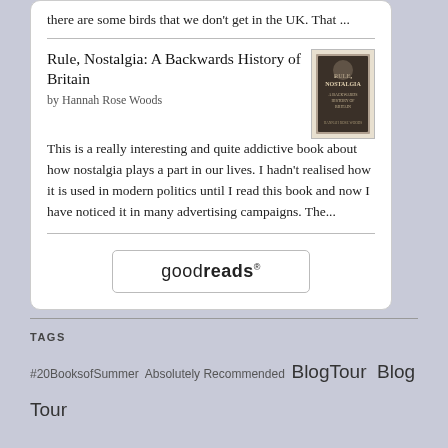there are some birds that we don't get in the UK. That ...
Rule, Nostalgia: A Backwards History of Britain
by Hannah Rose Woods
[Figure (illustration): Book cover of Rule, Nostalgia: A Backwards History of Britain]
This is a really interesting and quite addictive book about how nostalgia plays a part in our lives. I hadn't realised how it is used in modern politics until I read this book and now I have noticed it in many advertising campaigns. The...
[Figure (logo): Goodreads logo button]
TAGS
#20BooksofSummer  Absolutely Recommended  BlogTour  Blog Tour